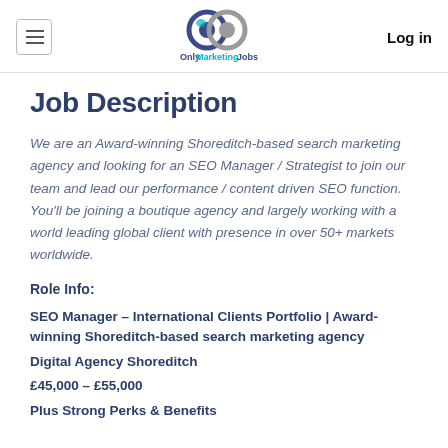OnlyMarketingJobs | Log in
Job Description
We are an Award-winning Shoreditch-based search marketing agency and looking for an SEO Manager / Strategist to join our team and lead our performance / content driven SEO function. You'll be joining a boutique agency and largely working with a world leading global client with presence in over 50+ markets worldwide.
Role Info:
SEO Manager – International Clients Portfolio | Award-winning Shoreditch-based search marketing agency
Digital Agency Shoreditch
£45,000 – £55,000
Plus Strong Perks & Benefits